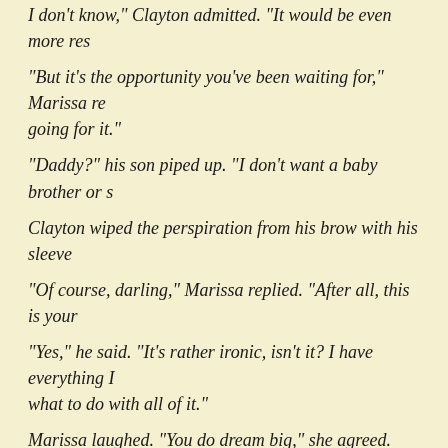I don't know," Clayton admitted. "It would be even more res
"But it's the opportunity you've been waiting for," Marissa re going for it."
"Daddy?" his son piped up. "I don't want a baby brother or s
Clayton wiped the perspiration from his brow with his sleeve
"Of course, darling," Marissa replied. "After all, this is your
"Yes," he said. "It's rather ironic, isn't it? I have everything I what to do with all of it."
Marissa laughed. "You do dream big," she agreed. "What yo your mouth."
He looked at her, startled. "What?"
"Open your mouth...."
****
Cl...